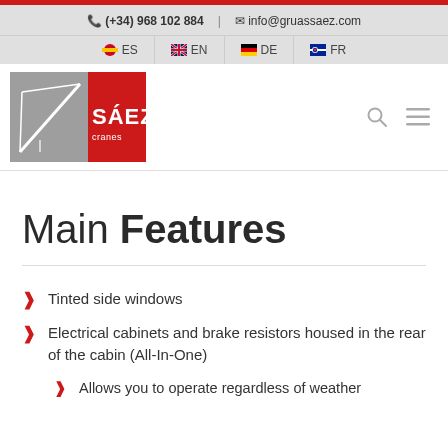(+34) 968 102 884  |  info@gruassaez.com
[Figure (logo): Saez Cranes logo - grey and red crane company logo with text SAEZ and cranes]
Main Features
Tinted side windows
Electrical cabinets and brake resistors housed in the rear of the cabin (All-In-One)
Allows you to operate regardless of weather